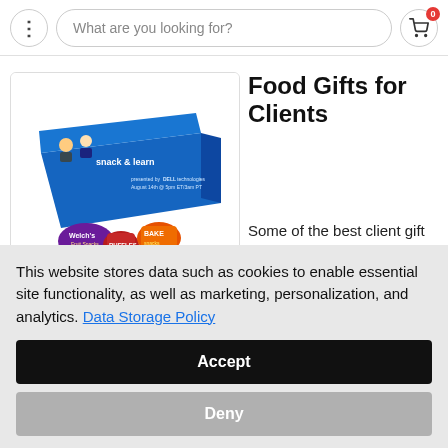What are you looking for?
[Figure (photo): A blue branded gift box labeled 'snack & learn' presented by Dell Technologies, filled with assorted snack items including Welch's fruit snacks, RUFFLES chips, and other packaged snacks.]
Food Gifts for Clients
Some of the best client gift ideas are ones that leave a satisfying
This website stores data such as cookies to enable essential site functionality, as well as marketing, personalization, and analytics. Data Storage Policy
Accept
Deny